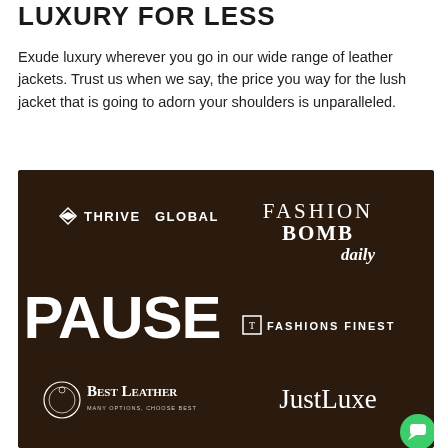LUXURY FOR LESS
Exude luxury wherever you go in our wide range of leather jackets. Trust us when we say, the price you way for the lush jacket that is going to adorn your shoulders is unparalleled.
[Figure (logo): Dark brown panel with 6 brand logos in a 2x3 grid: Thrive Global, Fashion Bomb Daily, PAUSE, Fashions Finest, Best Leather, JustLuxe]